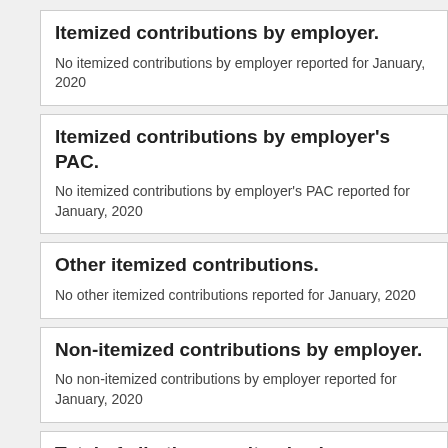Itemized contributions by employer.
No itemized contributions by employer reported for January, 2020
Itemized contributions by employer's PAC.
No itemized contributions by employer's PAC reported for January, 2020
Other itemized contributions.
No other itemized contributions reported for January, 2020
Non-itemized contributions by employer.
No non-itemized contributions by employer reported for January, 2020
Total of all other non-itemized contributions.
No other non-itemized contributions reported for January, 2020